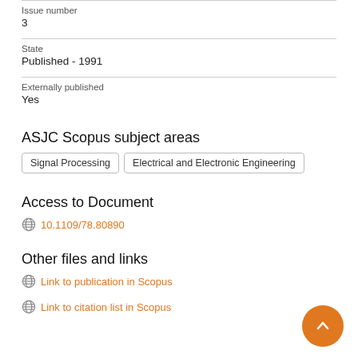Issue number
3
State
Published - 1991
Externally published
Yes
ASJC Scopus subject areas
Signal Processing
Electrical and Electronic Engineering
Access to Document
10.1109/78.80890
Other files and links
Link to publication in Scopus
Link to citation list in Scopus